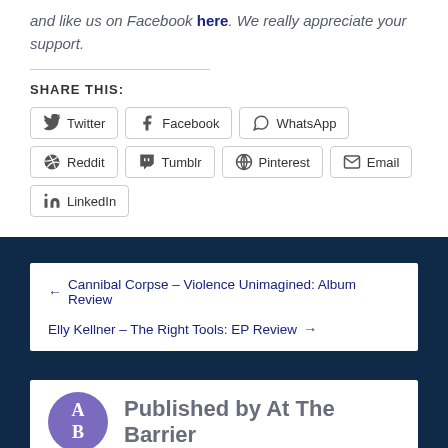and like us on Facebook here. We really appreciate your support.
SHARE THIS:
Twitter
Facebook
WhatsApp
Reddit
Tumblr
Pinterest
Email
LinkedIn
← Cannibal Corpse – Violence Unimagined: Album Review
Elly Kellner – The Right Tools: EP Review →
Published by At The Barrier